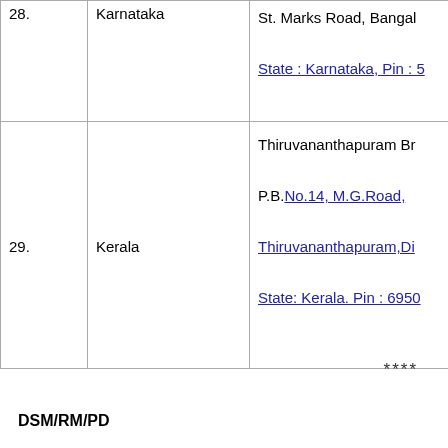| No. | State | Address |
| --- | --- | --- |
| 28. | Karnataka | St. Marks Road, Bangalore
State : Karnataka, Pin : 5... |
| 29. | Kerala | Thiruvananthapuram Branch
P.B.No.14, M.G.Road,
Thiruvananthapuram,Di...
State: Kerala. Pin : 6950... |
****
DSM/RM/PD